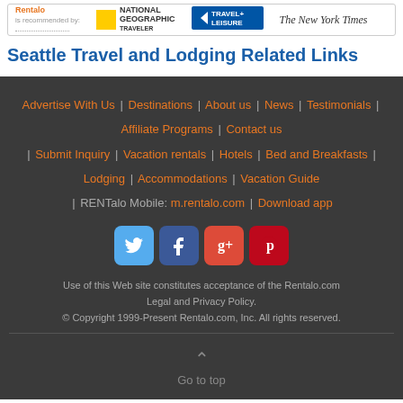[Figure (logo): Rentalo is recommended by: National Geographic Traveler, Travel+Leisure, The New York Times logos in a bordered bar]
Seattle Travel and Lodging Related Links
Advertise With Us | Destinations | About us | News | Testimonials | Affiliate Programs | Contact us | Submit Inquiry | Vacation rentals | Hotels | Bed and Breakfasts | Lodging | Accommodations | Vacation Guide | RENTalo Mobile: m.rentalo.com | Download app
[Figure (logo): Social media icons: Twitter, Facebook, Google+, Pinterest]
Use of this Web site constitutes acceptance of the Rentalo.com Legal and Privacy Policy.
© Copyright 1999-Present Rentalo.com, Inc. All rights reserved.
Go to top